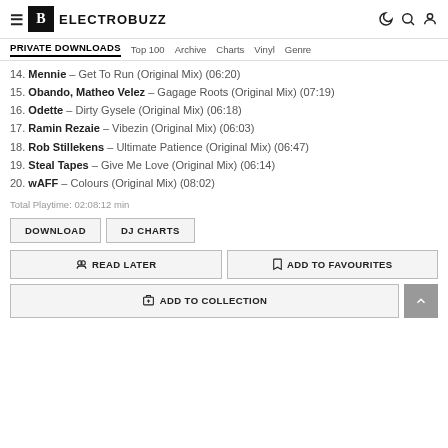ELECTROBUZZ — PRIVATE DOWNLOADS | Top 100 | Archive | Charts | Vinyl | Genre
14. Mennie – Get To Run (Original Mix) (06:20)
15. Obando, Matheo Velez – Gagage Roots (Original Mix) (07:19)
16. Odette – Dirty Gysele (Original Mix) (06:18)
17. Ramin Rezaie – Vibezin (Original Mix) (06:03)
18. Rob Stillekens – Ultimate Patience (Original Mix) (06:47)
19. Steal Tapes – Give Me Love (Original Mix) (06:14)
20. wAFF – Colours (Original Mix) (08:02)
Total Playtime: 02:08:12 min
DOWNLOAD | DJ CHARTS
READ LATER | ADD TO FAVOURITES
ADD TO COLLECTION